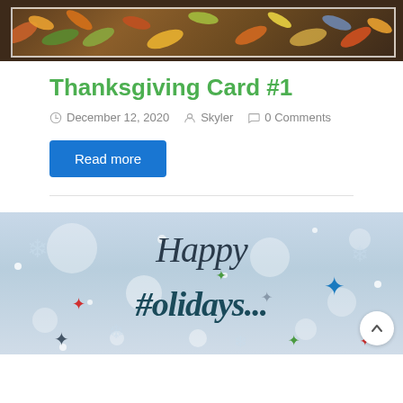[Figure (photo): Autumn/Thanksgiving themed banner image with dark brown background, autumn leaves and botanical decorations with a white border frame]
Thanksgiving Card #1
December 12, 2020  Skyler  0 Comments
Read more
[Figure (photo): Happy Holidays greeting card image with silver/grey background, snowflakes, colorful stars (blue, red, green, grey), and cursive 'Happy Holidays' text in dark teal/navy]